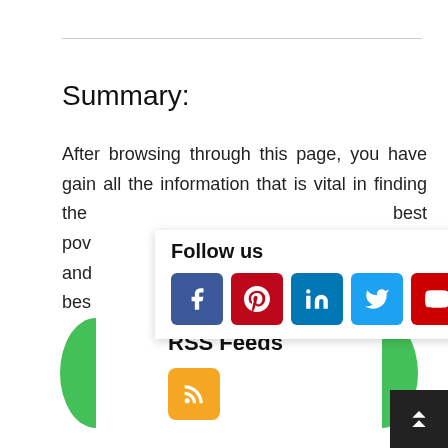Summary:
After browsing through this page, you have gain all the information that is vital in finding the best pow ship and the bes We recommend you to go with Luminous or Microtek.
[Figure (infographic): Follow us social media icons popup: Facebook (blue), Pinterest (red), LinkedIn (blue), Twitter (light blue), YouTube (red)]
RSS Feeds
[Figure (infographic): RSS feed orange icon button with decorative green half-circles on sides and scroll-to-top dark button at bottom right]